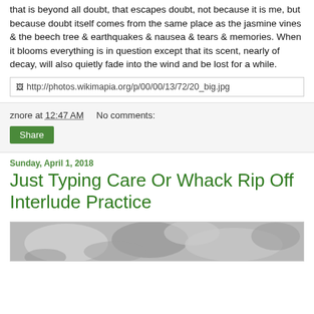that is beyond all doubt, that escapes doubt, not because it is me, but because doubt itself comes from the same place as the jasmine vines & the beech tree & earthquakes & nausea & tears & memories. When it blooms everything is in question except that its scent, nearly of decay, will also quietly fade into the wind and be lost for a while.
[Figure (photo): Broken image placeholder showing URL: http://photos.wikimapia.org/p/00/00/13/72/20_big.jpg]
znore at 12:47 AM    No comments:
Share
Sunday, April 1, 2018
Just Typing Care Or Whack Rip Off Interlude Practice
[Figure (photo): Black and white photo, partially visible at bottom of page, showing blurry organic shapes.]